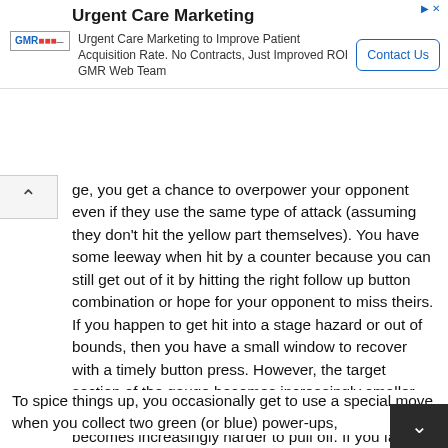[Figure (screenshot): Advertisement banner for Urgent Care Marketing by GMR Web Team with a Contact Us button]
ge, you get a chance to overpower your opponent even if they use the same type of attack (assuming they don't hit the yellow part themselves). You have some leeway when hit by a counter because you can still get out of it by hitting the right follow up button combination or hope for your opponent to miss theirs. If you happen to get hit into a stage hazard or out of bounds, then you have a small window to recover with a timely button press. However, the target section of the gauge becomes increasingly smaller the more times you've had to recover up to now, so it becomes increasingly harder to pull off. If you fail to recover or just run out of health, you lose a life. Lose two, and it's game over.
To spice things up, you occasionally get to use a special move when you collect two green (or blue) power-ups,